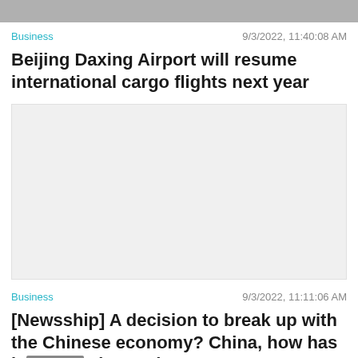[Figure (photo): Gray image placeholder banner at the top of the page]
Business   9/3/2022, 11:40:08 AM
Beijing Daxing Airport will resume international cargo flights next year
[Figure (photo): Light gray image placeholder for the first article]
Business   9/3/2022, 11:11:06 AM
[Newsship] A decision to break up with the Chinese economy? China, how has it changed?